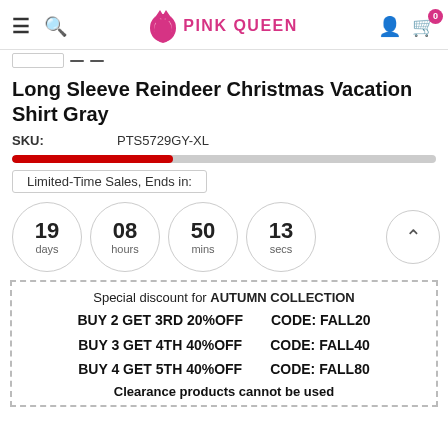PINK QUEEN
Long Sleeve Reindeer Christmas Vacation Shirt Gray
SKU: PTS5729GY-XL
Limited-Time Sales, Ends in:
19 days  08 hours  50 mins  13 secs
Special discount for AUTUMN COLLECTION
BUY 2 GET 3RD 20%OFF   CODE: FALL20
BUY 3 GET 4TH 40%OFF   CODE: FALL40
BUY 4 GET 5TH 40%OFF   CODE: FALL80
Clearance products cannot be used